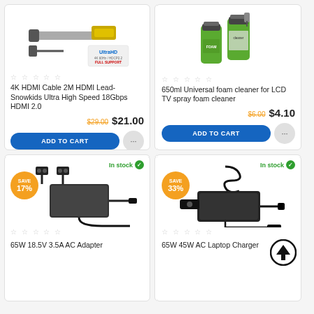[Figure (photo): 4K HDMI Cable product photo with UltraHD badge]
☆☆☆☆☆
4K HDMI Cable 2M HDMI Lead-Snowkids Ultra High Speed 18Gbps HDMI 2.0
$29.00 $21.00
ADD TO CART
[Figure (photo): 650ml Universal foam cleaner spray cans]
☆☆☆☆☆
650ml Universal foam cleaner for LCD TV spray foam cleaner
$6.00 $4.10
ADD TO CART
In stock ✓
SAVE 17%
[Figure (photo): 65W 18.5V 3.5A AC Adapter with connectors]
☆☆☆☆☆
65W 18.5V 3.5A AC Adapter
In stock ✓
SAVE 33%
[Figure (photo): 65W 45W AC Laptop Charger with cables]
☆☆☆☆☆
65W 45W AC Laptop Charger